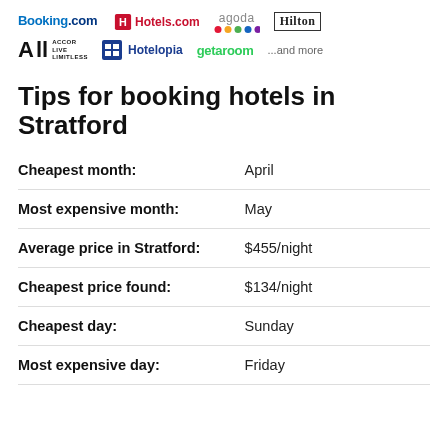[Figure (logo): Partner logos: Booking.com, Hotels.com, agoda, Hilton, ALL Accor Live Limitless, Hotelopia, getaroom, ...and more]
Tips for booking hotels in Stratford
| Cheapest month: | April |
| Most expensive month: | May |
| Average price in Stratford: | $455/night |
| Cheapest price found: | $134/night |
| Cheapest day: | Sunday |
| Most expensive day: | Friday |